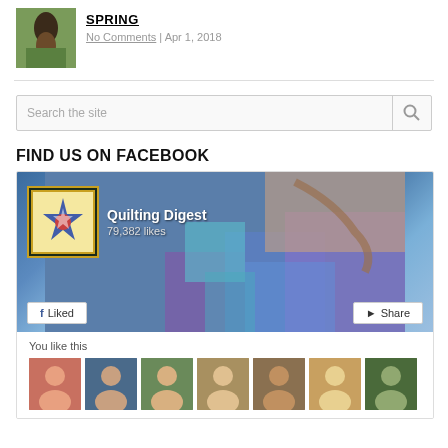[Figure (photo): Small thumbnail of a person in a garden/outdoor setting]
SPRING
No Comments | Apr 1, 2018
[Figure (screenshot): Search box with 'Search the site' placeholder text and magnifier icon]
FIND US ON FACEBOOK
[Figure (screenshot): Facebook page widget for Quilting Digest with 79,382 likes, cover photo showing quilting fabric and scissors, Liked and Share buttons, 'You like this' section with user avatar thumbnails]